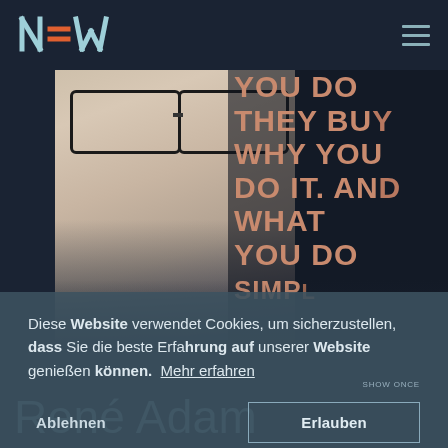[Figure (screenshot): Website header with NEW logo (N=W stylized in teal/white with orange accent) on dark navy background, hamburger menu icon on the right]
[Figure (photo): Hero image showing a man with glasses on the left half, and bold typographic overlay on the right half reading: YOU DO, THEY BUY, WHY YOU DO IT. AND WHAT YOU DO, SIMPL... in orange/salmon color on dark background]
Diese Website verwendet Cookies, um sicherzustellen, dass Sie die beste Erfahrung auf unserer Website genießen können. Mehr erfahren
Ablehnen
Erlauben
René Adam